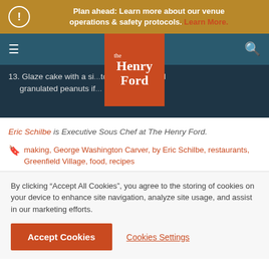Plan ahead: Learn more about our venue operations & safety protocols. Learn More.
[Figure (logo): The Henry Ford museum logo — orange square with white text 'the Henry Ford']
13. Glaze cake with a si... top with additional granulated peanuts if...
Eric Schilbe is Executive Sous Chef at The Henry Ford.
making, George Washington Carver, by Eric Schilbe, restaurants, Greenfield Village, food, recipes
By clicking "Accept All Cookies", you agree to the storing of cookies on your device to enhance site navigation, analyze site usage, and assist in our marketing efforts.